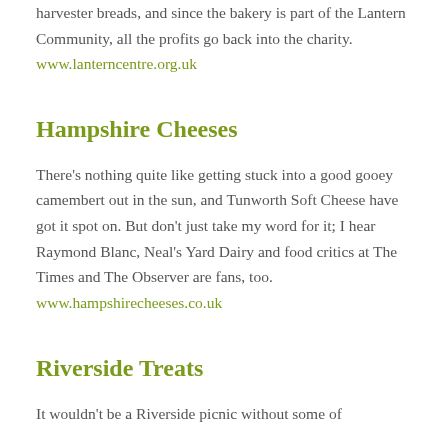harvester breads, and since the bakery is part of the Lantern Community, all the profits go back into the charity.
www.lanterncentre.org.uk
Hampshire Cheeses
There’s nothing quite like getting stuck into a good gooey camembert out in the sun, and Tunworth Soft Cheese have got it spot on. But don’t just take my word for it; I hear Raymond Blanc, Neal’s Yard Dairy and food critics at The Times and The Observer are fans, too.
www.hampshirecheeses.co.uk
Riverside Treats
It wouldn’t be a Riverside picnic without some of